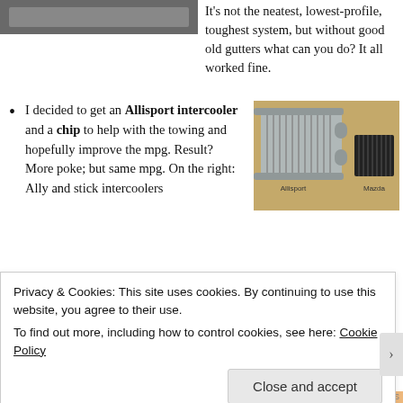[Figure (photo): Partial photo of a car or mechanical component, cropped at top left]
It's not the neatest, lowest-profile, toughest system, but without good old gutters what can you do? It all worked fine.
I decided to get an Allisport intercooler and a chip to help with the towing and hopefully improve the mpg. Result? More poke; but same mpg. On the right: Ally and stick intercoolers
[Figure (photo): Photo of an Allisport intercooler and Mazda intercooler side by side on a wooden surface]
[Figure (photo): Photo of a yellow car front showing registration plate HG53 HPE with intercooler visible]
Privacy & Cookies: This site uses cookies. By continuing to use this website, you agree to their use.
To find out more, including how to control cookies, see here: Cookie Policy
Close and accept